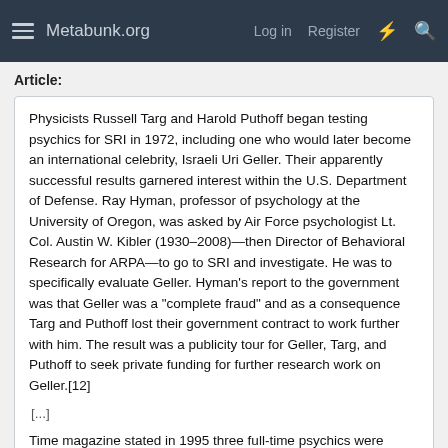Metabunk.org   Log in   Register
Article:
Physicists Russell Targ and Harold Puthoff began testing psychics for SRI in 1972, including one who would later become an international celebrity, Israeli Uri Geller. Their apparently successful results garnered interest within the U.S. Department of Defense. Ray Hyman, professor of psychology at the University of Oregon, was asked by Air Force psychologist Lt. Col. Austin W. Kibler (1930–2008)—then Director of Behavioral Research for ARPA—to go to SRI and investigate. He was to specifically evaluate Geller. Hyman's report to the government was that Geller was a "complete fraud" and as a consequence Targ and Puthoff lost their government contract to work further with him. The result was a publicity tour for Geller, Targ, and Puthoff to seek private funding for further research work on Geller.[12]
[...]
Time magazine stated in 1995 three full-time psychics were